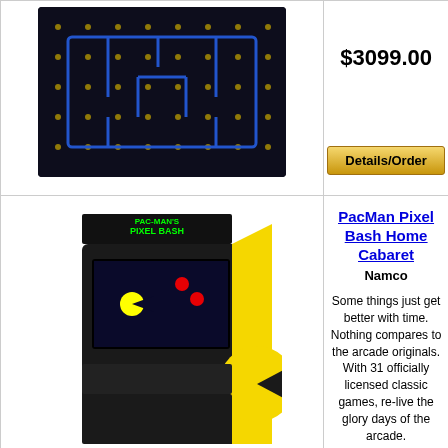[Figure (photo): Pac-Man arcade cabinet top view with dark background and yellow dots pattern]
$3099.00
Details/Order
[Figure (photo): PacMan Pixel Bash Home Cabaret arcade machine with yellow Pac-Man artwork]
PacMan Pixel Bash Home Cabaret
Namco
Some things just get better with time. Nothing compares to the arcade originals. With 31 officially licensed classic games, re-live the glory days of the arcade.